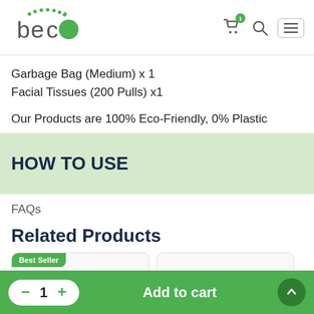[Figure (logo): Beco brand logo with green dotted arc and stylized text]
Garbage Bag (Medium) x 1
Facial Tissues (200 Pulls) x1
Our Products are 100% Eco-Friendly, 0% Plastic
HOW TO USE
FAQs
Related Products
Best Seller